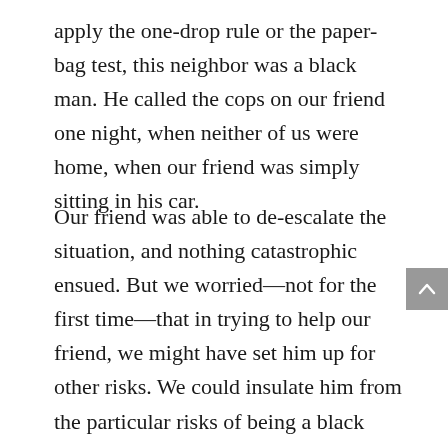apply the one-drop rule or the paper-bag test, this neighbor was a black man. He called the cops on our friend one night, when neither of us were home, when our friend was simply sitting in his car.
Our friend was able to de-escalate the situation, and nothing catastrophic ensued. But we worried—not for the first time—that in trying to help our friend, we might have set him up for other risks. We could insulate him from the particular risks of being a black man in a mostly white neighborhood only by kicking him out, which hardly seemed the right choice. That is the power of racism: it